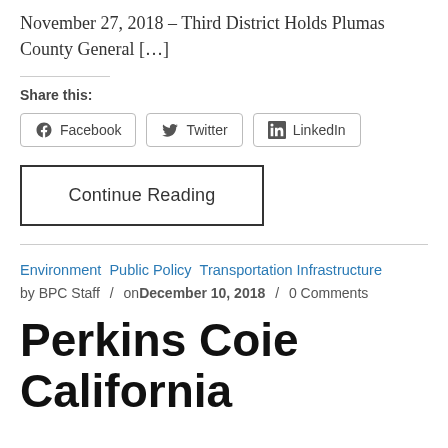November 27, 2018 – Third District Holds Plumas County General […]
Share this:
Facebook
Twitter
LinkedIn
Continue Reading
Environment  Public Policy  Transportation Infrastructure
by BPC Staff  /  onDecember 10, 2018  /  0 Comments
Perkins Coie California